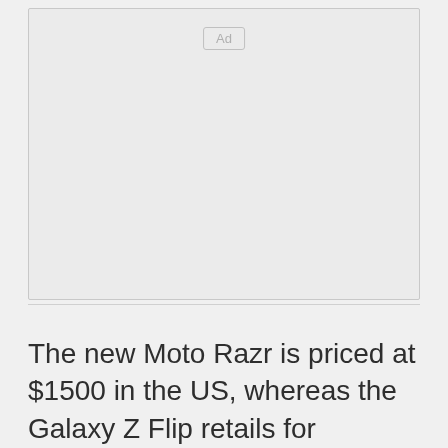[Figure (other): Advertisement placeholder box with 'Ad' label in the center-top area]
The new Moto Razr is priced at $1500 in the US, whereas the Galaxy Z Flip retails for